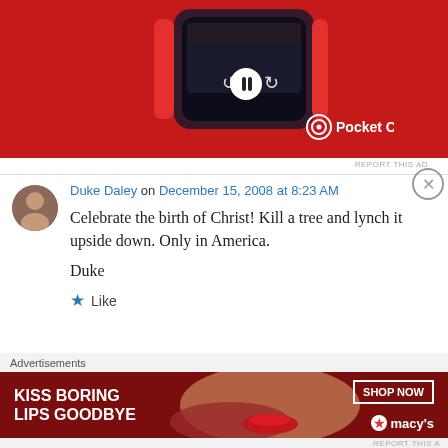[Figure (photo): Pocket Casts app advertisement showing a smartphone on a red background with the Pocket Casts logo]
REPORT THIS AD
Duke Daley on December 15, 2008 at 8:23 AM
Celebrate the birth of Christ! Kill a tree and lynch it upside down. Only in America.
Duke
Like
Advertisements
[Figure (photo): Macy's advertisement: KISS BORING LIPS GOODBYE with SHOP NOW button and Macy's logo on red background with woman's face]